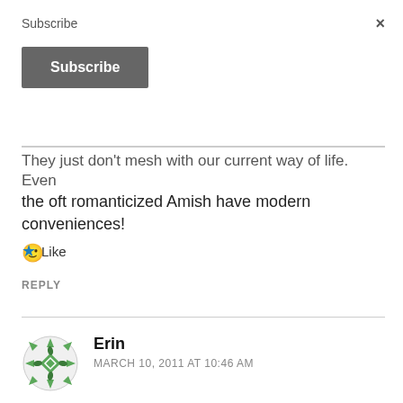Subscribe
×
Subscribe
They just don't mesh with our current way of life. Even the oft romanticized Amish have modern conveniences! 🙂
★ Like
REPLY
Erin
MARCH 10, 2011 AT 10:46 AM